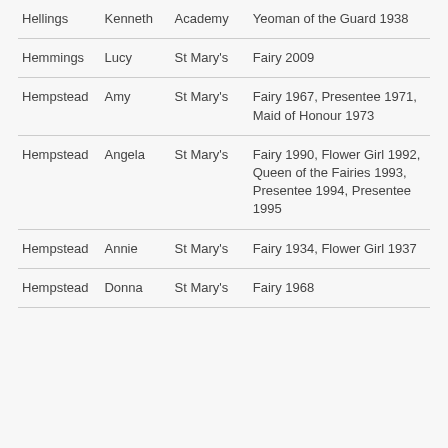| Hellings | Kenneth | Academy | Yeoman of the Guard 1938 |
| Hemmings | Lucy | St Mary's | Fairy 2009 |
| Hempstead | Amy | St Mary's | Fairy 1967, Presentee 1971, Maid of Honour 1973 |
| Hempstead | Angela | St Mary's | Fairy 1990, Flower Girl 1992, Queen of the Fairies 1993, Presentee 1994, Presentee 1995 |
| Hempstead | Annie | St Mary's | Fairy 1934, Flower Girl 1937 |
| Hempstead | Donna | St Mary's | Fairy 1968 |